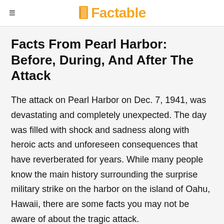≡ Factable
Facts From Pearl Harbor: Before, During, And After The Attack
The attack on Pearl Harbor on Dec. 7, 1941, was devastating and completely unexpected. The day was filled with shock and sadness along with heroic acts and unforeseen consequences that have reverberated for years. While many people know the main history surrounding the surprise military strike on the harbor on the island of Oahu, Hawaii, there are some facts you may not be aware of about the tragic attack.
Learn about the fates of the sunken battleships, the